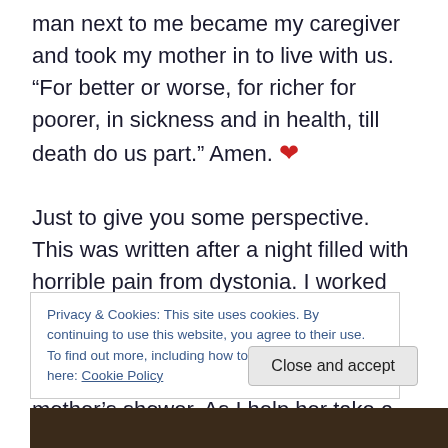man next to me became my caregiver and took my mother in to live with us. “For better or worse, for richer for poorer, in sickness and in health, till death do us part.” Amen. ♥
Just to give you some perspective. This was written after a night filled with horrible pain from dystonia. I worked physically hard all day yesterday. It was unavoidable. I woke up feeling exhausted , but, it is time for my mother’s shower. As I help her take a shower, tears of pain fall from my eyes to the floor. They are indistinguishable from the drops of water coming from her body as we towel it dry. In
Privacy & Cookies: This site uses cookies. By continuing to use this website, you agree to their use.
To find out more, including how to control cookies, see here: Cookie Policy
Close and accept
[Figure (photo): Bottom strip showing a dark photo, partially visible]